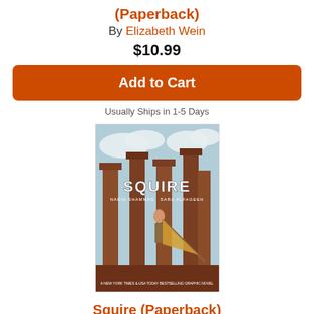(Paperback)
By Elizabeth Wein
$10.99
Add to Cart
Usually Ships in 1-5 Days
[Figure (illustration): Book cover of Squire showing a figure with a spear among tall columns with a kite]
Squire (Paperback)
By Nadia Shammas, Sara Alfageeh (Illustrator), Sara Alfageeh
$14.99
Add to Cart
Usually Ships in 1-5 Days